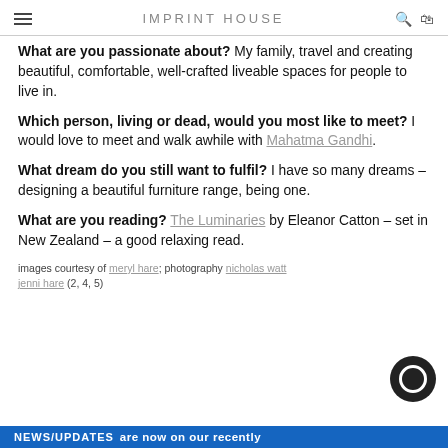IMPRINT HOUSE
What are you passionate about? My family, travel and creating beautiful, comfortable, well-crafted liveable spaces for people to live in.
Which person, living or dead, would you most like to meet? I would love to meet and walk awhile with Mahatma Gandhi.
What dream do you still want to fulfil? I have so many dreams – designing a beautiful furniture range, being one.
What are you reading? The Luminaries by Eleanor Catton – set in New Zealand – a good relaxing read.
images courtesy of meryl hare; photography nicholas watt jenni hare (2, 4, 5)
NEWS/UPDATES are now on our recently